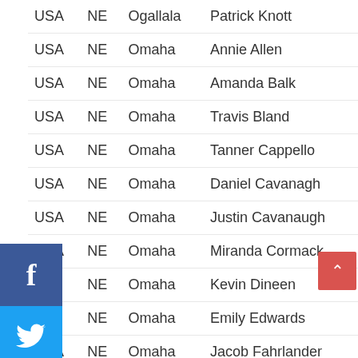| Country | State | City | Name |
| --- | --- | --- | --- |
| USA | NE | Ogallala | Patrick Knott |
| USA | NE | Omaha | Annie Allen |
| USA | NE | Omaha | Amanda Balk |
| USA | NE | Omaha | Travis Bland |
| USA | NE | Omaha | Tanner Cappello |
| USA | NE | Omaha | Daniel Cavanagh |
| USA | NE | Omaha | Justin Cavanaugh |
| USA | NE | Omaha | Miranda Cormack |
| JSA | NE | Omaha | Kevin Dineen |
| JSA | NE | Omaha | Emily Edwards |
| USA | NE | Omaha | Jacob Fahrlander |
| USA | NE | Omaha | Lindsay Ferguson |
| USA | NE | Omaha | Kelsey Haywood |